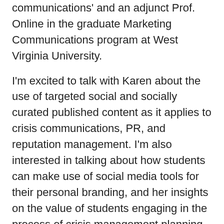communications' and an adjunct Prof. Online in the graduate Marketing Communications program at West Virginia University.
I'm excited to talk with Karen about the use of targeted social and socially curated published content as it applies to crisis communications, PR, and reputation management. I'm also interested in talking about how students can make use of social media tools for their personal branding, and her insights on the value of students engaging in the process of crisis management planning for their personal brands.
Prof. Freberg has active research in public relations, reputation management, social media and crisis communications.